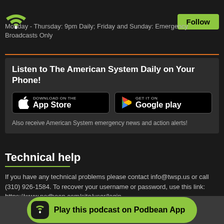[Figure (logo): Green WiFi/podcast icon in top left, Follow button in top right]
Monday - Thursday: 9pm Daily; Friday and Sunday: Emergency Broadcasts Only
Listen to The American System Daily on Your Phone!
[Figure (illustration): App Store download button and Google Play Get It On button]
Also receive American System emergency news and action alerts!
Technical help
If you have any technical problems please contact info@twsp.us or call (310) 926-1584. To recover your username or password, use this link: https://www.podbean.com/site/user/login
COPYRIGHT 2022 AMERICAN SYSTEM MEDIA
[Figure (illustration): Play this podcast on Podbean App green button at bottom]